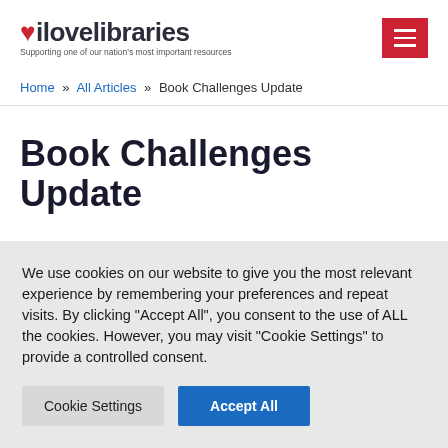ilovelibraries — Supporting one of our nation's most important resources
Home » All Articles » Book Challenges Update
Book Challenges Update
We use cookies on our website to give you the most relevant experience by remembering your preferences and repeat visits. By clicking "Accept All", you consent to the use of ALL the cookies. However, you may visit "Cookie Settings" to provide a controlled consent.